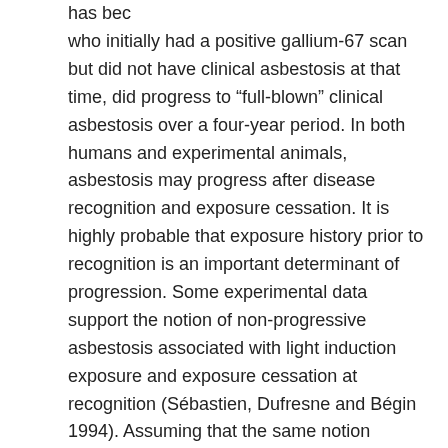has been ... subjects who initially had a positive gallium-67 scan but did not have clinical asbestosis at that time, did progress to "full-blown" clinical asbestosis over a four-year period. In both humans and experimental animals, asbestosis may progress after disease recognition and exposure cessation. It is highly probable that exposure history prior to recognition is an important determinant of progression. Some experimental data support the notion of non-progressive asbestosis associated with light induction exposure and exposure cessation at recognition (Sébastien, Dufresne and Bégin 1994). Assuming that the same notion applies to humans, it would be of the first importance to establish precisely the metrics of "light induction exposure". In spite of all the efforts at screening working populations exposed to asbestos, this information is still lacking.
It is well-known that asbestos exposure can yield to an excessive risk of lung cancer. Even if it is admitted that asbestos is a carcinogen per se, it has long been debated